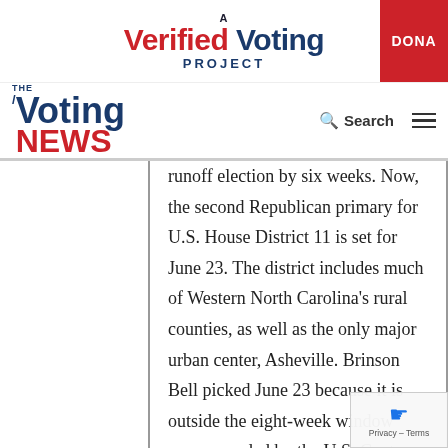[Figure (logo): A Verified Voting Project logo with red 'Verified' text and navy 'Voting' text, plus DONATE button]
[Figure (logo): The Voting News logo with navy 'Voting' and red 'NEWS' text, plus Search and hamburger menu]
runoff election by six weeks. Now, the second Republican primary for U.S. House District 11 is set for June 23. The district includes much of Western North Carolina's rural counties, as well as the only major urban center, Asheville. Brinson Bell picked June 23 because it is outside the eight-week window recommended by the U.S. Centers for Disease Control and